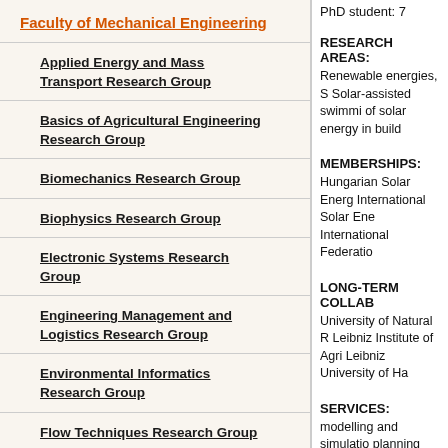PhD student: 7
Faculty of Mechanical Engineering
Applied Energy and Mass Transport Research Group
Basics of Agricultural Engineering Research Group
Biomechanics Research Group
Biophysics Research Group
Electronic Systems Research Group
Engineering Management and Logistics Research Group
Environmental Informatics Research Group
Flow Techniques Research Group
Geothermal Research Group
RESEARCH AREAS:
Renewable energies, S Solar-assisted swimmi of solar energy in build
MEMBERSHIPS:
Hungarian Solar Energ International Solar Ene International Federatio
LONG-TERM COLLAB
University of Natural R Leibniz Institute of Agri Leibniz University of Ha
SERVICES:
modelling and simulatio planning and sizing for external service for pho